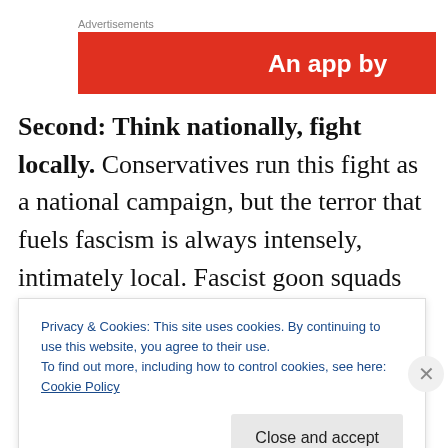Advertisements
[Figure (other): Red advertisement banner with white text reading 'An app by']
Second: Think nationally, fight locally.  Conservatives run this fight as a national campaign, but the terror that fuels fascism is always intensely, intimately local.  Fascist goon squads recruit from the neighborhood, built on people we know.  Since that's where they start, that's
Privacy & Cookies: This site uses cookies. By continuing to use this website, you agree to their use.
To find out more, including how to control cookies, see here: Cookie Policy
Close and accept